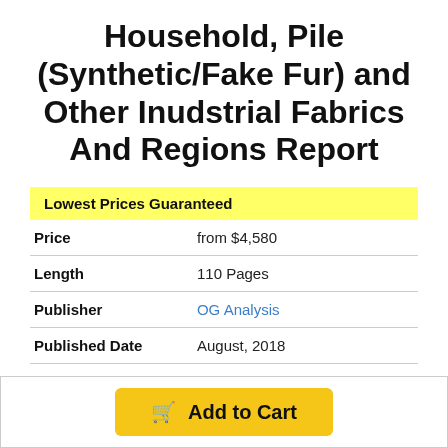Household, Pile (Synthetic/Fake Fur) and Other Inudstrial Fabrics And Regions Report
| Lowest Prices Guaranteed |  |
| Price | from $4,580 |
| Length | 110 Pages |
| Publisher | OG Analysis |
| Published Date | August, 2018 |
| SKU | OGAN15774343 |
Add to Cart